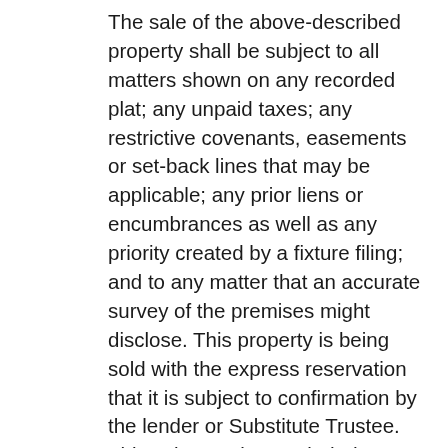The sale of the above-described property shall be subject to all matters shown on any recorded plat; any unpaid taxes; any restrictive covenants, easements or set-back lines that may be applicable; any prior liens or encumbrances as well as any priority created by a fixture filing; and to any matter that an accurate survey of the premises might disclose. This property is being sold with the express reservation that it is subject to confirmation by the lender or Substitute Trustee. This sale may be rescinded at any time. The right is reserved to adjourn the day of the sale to another day, time, and place certain without further publication, upon announcement at the time and place for the sale set forth above. All right and equity of redemption, statutory or otherwise, homestead, and dower are expressly waived in